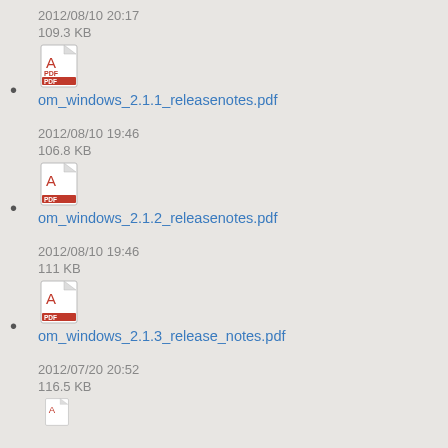2012/08/10 20:17
109.3 KB
om_windows_2.1.1_releasenotes.pdf
2012/08/10 19:46
106.8 KB
om_windows_2.1.2_releasenotes.pdf
2012/08/10 19:46
111 KB
om_windows_2.1.3_release_notes.pdf
2012/07/20 20:52
116.5 KB